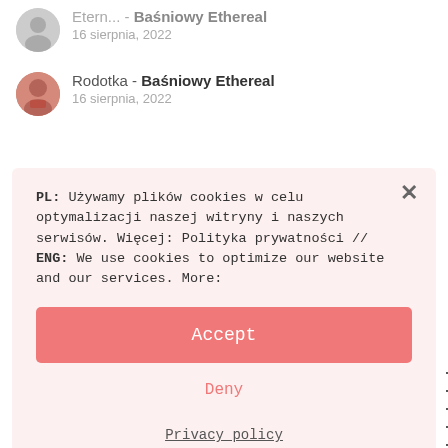Etern... - Baśniowy Ethereal
16 sierpnia, 2022
Rodotka - Baśniowy Ethereal
16 sierpnia, 2022
PL: Używamy plików cookies w celu optymalizacji naszej witryny i naszych serwisów. Więcej: Polityka prywatności //
ENG: We use cookies to optimize our website and our services. More:
Accept
Deny
Privacy policy